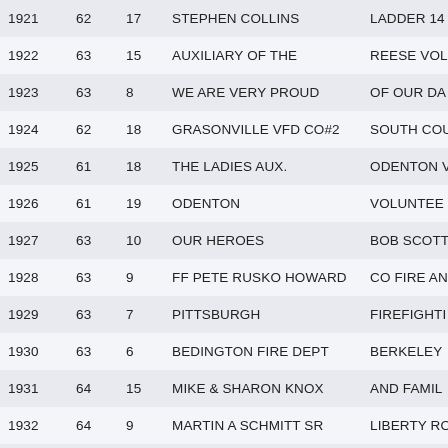|  |  |  |  |  |
| --- | --- | --- | --- | --- |
| 1921 | 62 | 17 | STEPHEN COLLINS | LADDER 14 |
| 1922 | 63 | 15 | AUXILIARY OF THE | REESE VOL |
| 1923 | 63 | 8 | WE ARE VERY PROUD | OF OUR DA |
| 1924 | 62 | 18 | GRASONVILLE VFD CO#2 | SOUTH COU |
| 1925 | 61 | 18 | THE LADIES AUX. | ODENTON V |
| 1926 | 61 | 19 | ODENTON | VOLUNTEE |
| 1927 | 63 | 10 | OUR HEROES | BOB SCOTT |
| 1928 | 63 | 9 | FF PETE RUSKO HOWARD | CO FIRE AN |
| 1929 | 63 | 7 | PITTSBURGH | FIREFIGHTI |
| 1930 | 63 | 6 | BEDINGTON FIRE DEPT | BERKELEY |
| 1931 | 64 | 15 | MIKE & SHARON KNOX | AND FAMIL |
| 1932 | 64 | 9 | MARTIN A SCHMITT SR | LIBERTY RO |
| 1933 | 65 | 10 | JOSH & LISSIA GERBER | IN OC DREA |
| 1934 | 63 | 11 | "I CARRY YOUR HEART, | I CARRY IT |
| 1935 | 64 | 14 | MICHAEL RYAN MOCZAN | LT 7015 FTV |